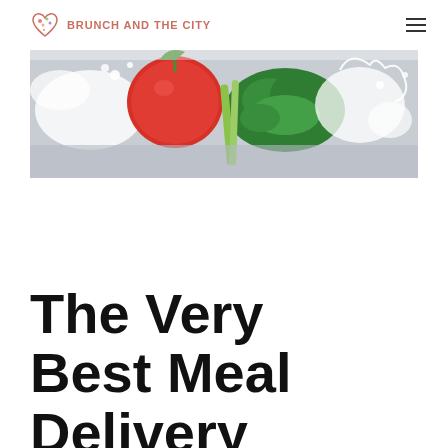BRUNCH AND THE CITY
[Figure (photo): Fresh vegetables including tomato and parsley with water splash on a light background]
The Very Best Meal Delivery Service